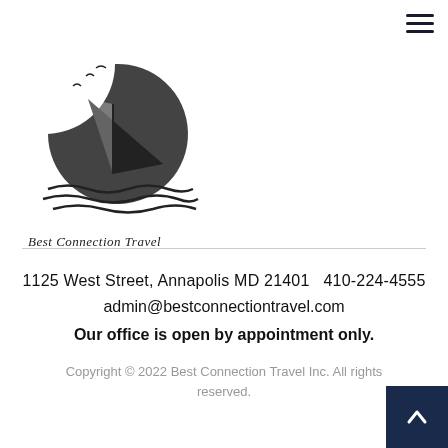[Figure (logo): Best Connection Travel logo: sailboat inside a circle with birds, with waves beneath, and italic text 'Best Connection Travel' below]
1125 West Street, Annapolis MD 21401   410-224-4555
admin@bestconnectiontravel.com
Our office is open by appointment only.
Copyright © 2022 Best Connection Travel Inc. All rights reserved.